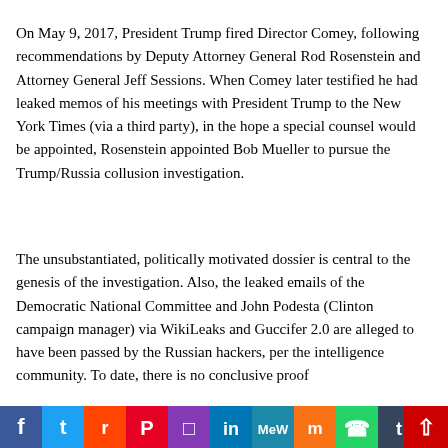On May 9, 2017, President Trump fired Director Comey, following recommendations by Deputy Attorney General Rod Rosenstein and Attorney General Jeff Sessions. When Comey later testified he had leaked memos of his meetings with President Trump to the New York Times (via a third party), in the hope a special counsel would be appointed, Rosenstein appointed Bob Mueller to pursue the Trump/Russia collusion investigation.
The unsubstantiated, politically motivated dossier is central to the genesis of the investigation. Also, the leaked emails of the Democratic National Committee and John Podesta (Clinton campaign manager) via WikiLeaks and Guccifer 2.0 are alleged to have been passed by the Russian hackers, per the intelligence community. To date, there is no conclusive proof